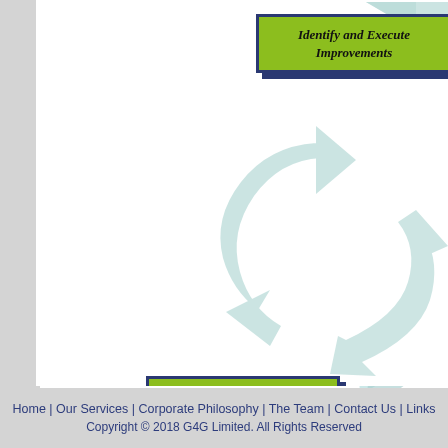[Figure (flowchart): Circular process diagram showing steps: Identify and Execute Improvements, Measure Performance, Business Process in Operations, with large light-blue circular arrows connecting the steps in a cycle.]
Home | Our Services | Corporate Philosophy | The Team | Contact Us | Links
Copyright © 2018 G4G Limited. All Rights Reserved